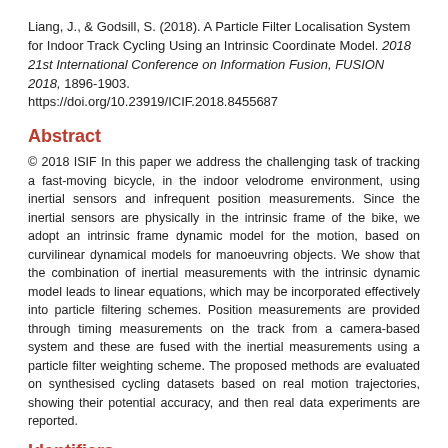Liang, J., & Godsill, S. (2018). A Particle Filter Localisation System for Indoor Track Cycling Using an Intrinsic Coordinate Model. 2018 21st International Conference on Information Fusion, FUSION 2018, 1896-1903. https://doi.org/10.23919/ICIF.2018.8455687
Abstract
© 2018 ISIF In this paper we address the challenging task of tracking a fast-moving bicycle, in the indoor velodrome environment, using inertial sensors and infrequent position measurements. Since the inertial sensors are physically in the intrinsic frame of the bike, we adopt an intrinsic frame dynamic model for the motion, based on curvilinear dynamical models for manoeuvring objects. We show that the combination of inertial measurements with the intrinsic dynamic model leads to linear equations, which may be incorporated effectively into particle filtering schemes. Position measurements are provided through timing measurements on the track from a camera-based system and these are fused with the inertial measurements using a particle filter weighting scheme. The proposed methods are evaluated on synthesised cycling datasets based on real motion trajectories, showing their potential accuracy, and then real data experiments are reported.
Identifiers
External DOI:
https://doi.org/10.23919/ICIF.2018.8455687
This record's URL: